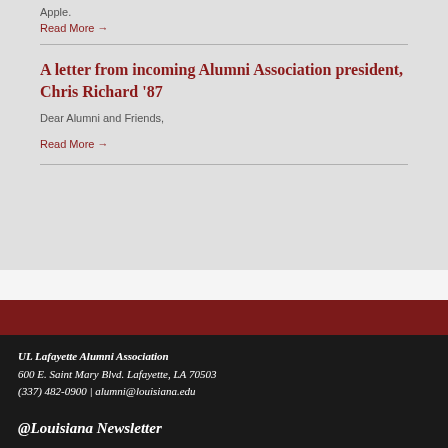Apple.
Read More →
A letter from incoming Alumni Association president, Chris Richard '87
Dear Alumni and Friends,
Read More →
UL Lafayette Alumni Association
600 E. Saint Mary Blvd. Lafayette, LA 70503
(337) 482-0900 | alumni@louisiana.edu
@Louisiana Newsletter